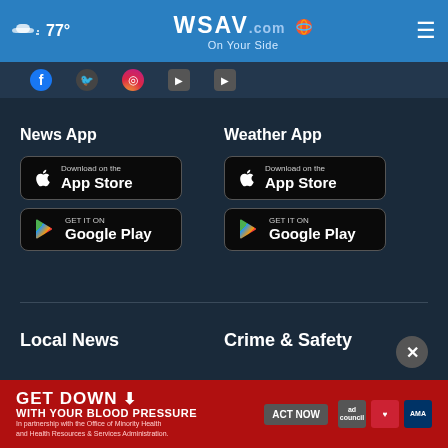77° WSAV.com On Your Side
[Figure (screenshot): Social media icons strip (Facebook, Instagram, etc.)]
News App
[Figure (screenshot): Download on the App Store button (News App)]
[Figure (screenshot): GET IT ON Google Play button (News App)]
Weather App
[Figure (screenshot): Download on the App Store button (Weather App)]
[Figure (screenshot): GET IT ON Google Play button (Weather App)]
Local News
Crime & Safety
Livestream
Weather
Sports
NewsNation Now
Shows
[Figure (screenshot): Ad banner: GET DOWN WITH YOUR BLOOD PRESSURE - ACT NOW, in partnership with the Office of Minority Health and Health Resources & Services Administration. Ad logos: ad council, American Heart Association, AMA.]